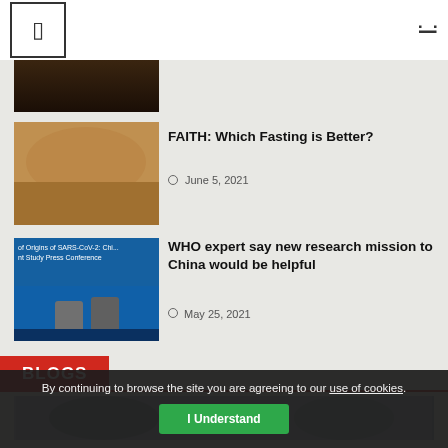[Figure (photo): Dark interior room scene with chairs/furniture]
FAITH: Which Fasting is Better?
June 5, 2021
[Figure (photo): Family seated on the floor sharing a meal, man in white robe with children]
WHO expert say new research mission to China would be helpful
May 25, 2021
[Figure (photo): WHO press conference about origins of SARS-CoV-2, blue backdrop with two people at table]
BLOGS
[Figure (photo): Blog preview image showing people]
By continuing to browse the site you are agreeing to our use of cookies.
I Understand